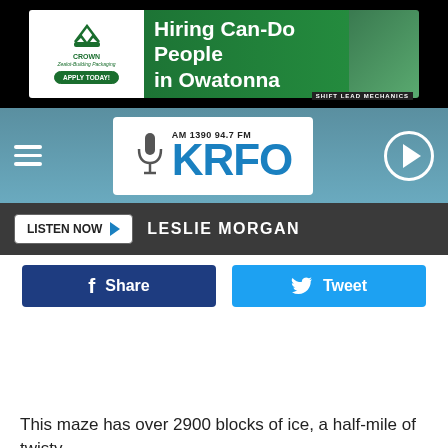[Figure (screenshot): Crown Holdings 'Hiring Can-Do People in Owatonna' banner advertisement with green background and logo, showing 'APPLY TODAY!' button, and 'SHIFT LEAD MECHANICS' text. Top ad banner.]
[Figure (logo): KRFO AM 1390 94.7 FM radio station logo with microphone icon in white rectangle, navigation bar with hamburger menu on left and play button on right, on blue-grey background.]
LISTEN NOW  LESLIE MORGAN
Share
Tweet
This maze has over 2900 blocks of ice, a half-mile of twisty
[Figure (screenshot): Crown Holdings 'Hiring Can-Do People in Owatonna' banner advertisement, bottom of page. Same as top ad.]